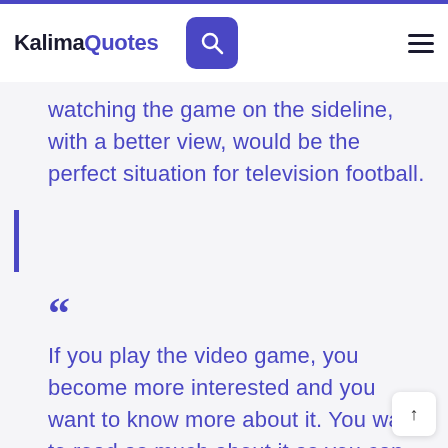KalimaQuotes
watching the game on the sideline, with a better view, would be the perfect situation for television football.
If you play the video game, you become more interested and you want to know more about it. You want to read as much about it as you can, see it